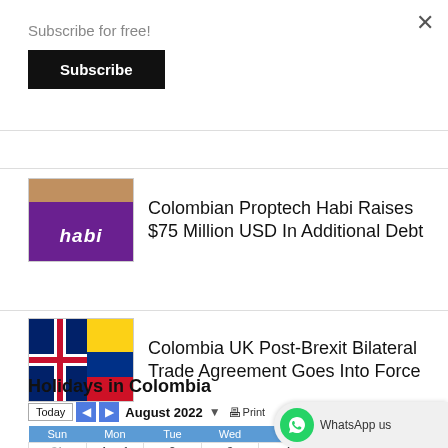×
Subscribe for free!
Subscribe
Colombian Proptech Habi Raises $75 Million USD In Additional Debt
Colombia UK Post-Brexit Bilateral Trade Agreement Goes Into Force
Holidays in Colombia
| Sun | Mon | Tue | Wed | Thu | Fri | Sa |
| --- | --- | --- | --- | --- | --- | --- |
| 31 | Aug 1 | 2 | 3 | 4 | 5 | 6 |